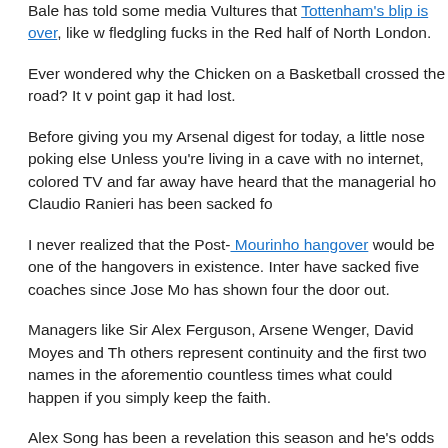Bale has told some media Vultures that Tottenham's blip is over, like w… fledgling fucks in the Red half of North London.
Ever wondered why the Chicken on a Basketball crossed the road? It w… point gap it had lost.
Before giving you my Arsenal digest for today, a little nose poking else… Unless you're living in a cave with no internet, colored TV and far away… have heard that the managerial ho Claudio Ranieri has been sacked fo…
I never realized that the Post- Mourinho hangover would be one of the… hangovers in existence. Inter have sacked five coaches since Jose Mo… has shown four the door out.
Managers like Sir Alex Ferguson, Arsene Wenger, David Moyes and Th… others represent continuity and the first two names in the aforementio… countless times what could happen if you simply keep the faith.
Alex Song has been a revelation this season and he's odds on to be a… the Season alongside Laurent Koscielny and everyone's favorite, Robi…
Song's has been flourishing in recent weeks and his assists have gone… recent resurgence. The Cameroonian gem currently earns £55,000 pe… expire in 2014 and the Daily Mail reports that Arsenal is set to hand hi…